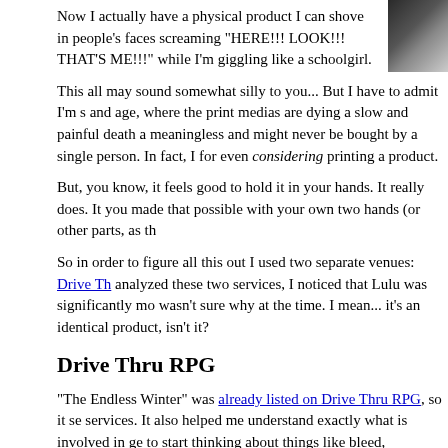Now I actually have a physical product I can shove in people's faces screaming "HERE!!! LOOK!!! THAT'S ME!!!" while I'm giggling like a schoolgirl.
This all may sound somewhat silly to you... But I have to admit I'm s and age, where the print medias are dying a slow and painful death a meaningless and might never be bought by a single person. In fact, I for even considering printing a product.
But, you know, it feels good to hold it in your hands. It really does. It you made that possible with your own two hands (or other parts, as th
So in order to figure all this out I used two separate venues: Drive Th analyzed these two services, I noticed that Lulu was significantly mo wasn't sure why at the time. I mean... it's an identical product, isn't it?
Drive Thru RPG
"The Endless Winter" was already listed on Drive Thru RPG, so it se services. It also helped me understand exactly what is involved in ge to start thinking about things like bleed, saturation and color space, p black and white, etc... - so there was a lot of trial and error as I went Drive Thru RPG three days to tell you the file you uploaded was wro version finally viable for publication.